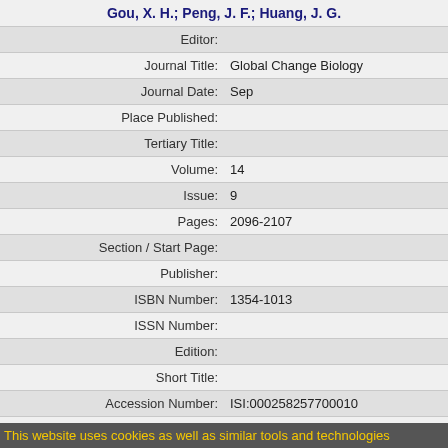| Field | Value |
| --- | --- |
|  | Gou, X. H.; Peng, J. F.; Huang, J. G. |
| Editor: |  |
| Journal Title: | Global Change Biology |
| Journal Date: | Sep |
| Place Published: |  |
| Tertiary Title: |  |
| Volume: | 14 |
| Issue: | 9 |
| Pages: | 2096-2107 |
| Section / Start Page: |  |
| Publisher: |  |
| ISBN Number: | 1354-1013 |
| ISSN Number: |  |
| Edition: |  |
| Short Title: |  |
| Accession Number: | ISI:000258257700010 |
| LDEO Publication Number: |  |
This website uses cookies as well as similar tools and technologies